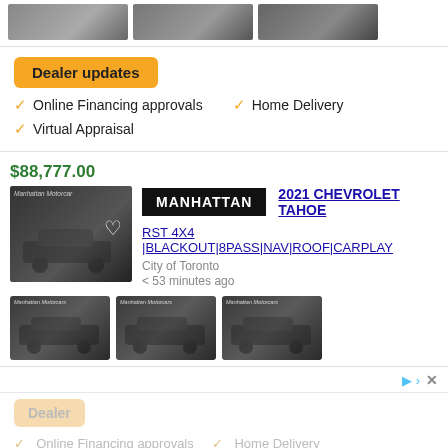[Figure (photo): Three car listing thumbnail images at top of page, partially visible]
Dealer updates
Online Financing approvals
Home Delivery
Virtual Appraisal
$88,777.00
[Figure (photo): Main listing photo of black 2021 Chevrolet Tahoe SUV in showroom with Manhattan Motorcars watermark]
[Figure (logo): MANHATTAN dealer logo - white text on black background]
2021 CHEVROLET TAHOE
RST 4X4 |BLACKOUT|8PASS|NAV|ROOF|CARPLAY
City of Toronto
< 53 minutes ago
[Figure (photo): Three thumbnail photos of black 2021 Chevrolet Tahoe from different angles with Manhattan Motorcars watermark]
[Figure (other): Advertisement strip with play arrow icon and X close button]
Dealer
Online Financing approvals   Home Delivery (faded/partial)